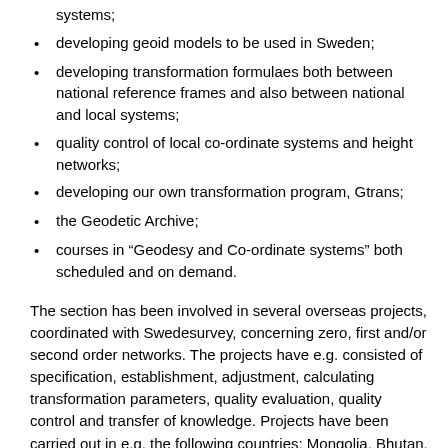systems;
developing geoid models to be used in Sweden;
developing transformation formulaes both between national reference frames and also between national and local systems;
quality control of local co-ordinate systems and height networks;
developing our own transformation program, Gtrans;
the Geodetic Archive;
courses in “Geodesy and Co-ordinate systems” both scheduled and on demand.
The section has been involved in several overseas projects, coordinated with Swedesurvey, concerning zero, first and/or second order networks. The projects have e.g. consisted of specification, establishment, adjustment, calculating transformation parameters, quality evaluation, quality control and transfer of knowledge. Projects have been carried out in e.g. the following countries: Mongolia, Bhutan, Armenia, Moldova, Namibia, Angola and Botswana. The section has